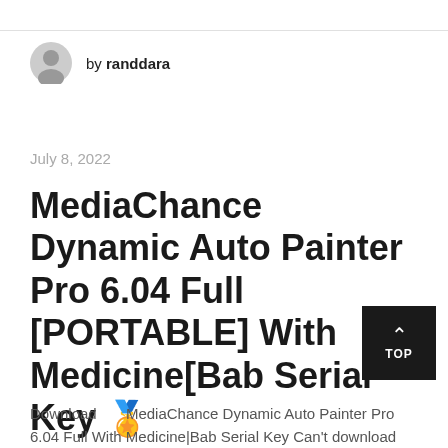by randdara
July 8, 2022
MediaChance Dynamic Auto Painter Pro 6.04 Full [PORTABLE] With Medicine[Bab Serial Key 🏅
Download     MediaChance Dynamic Auto Painter Pro 6.04 Full With Medicine|Bab Serial Key Can't download